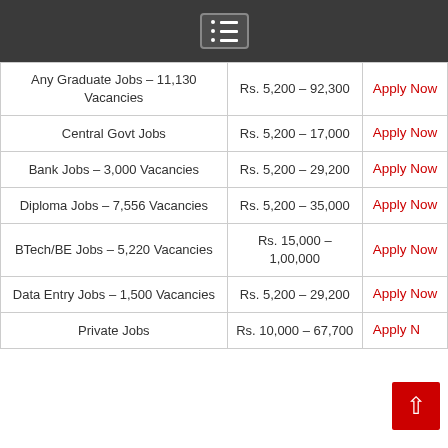Menu icon header
| Job Category | Salary Range | Action |
| --- | --- | --- |
| Any Graduate Jobs – 11,130 Vacancies | Rs. 5,200 – 92,300 | Apply Now |
| Central Govt Jobs | Rs. 5,200 – 17,000 | Apply Now |
| Bank Jobs – 3,000 Vacancies | Rs. 5,200 – 29,200 | Apply Now |
| Diploma Jobs – 7,556 Vacancies | Rs. 5,200 – 35,000 | Apply Now |
| BTech/BE Jobs – 5,220 Vacancies | Rs. 15,000 – 1,00,000 | Apply Now |
| Data Entry Jobs – 1,500 Vacancies | Rs. 5,200 – 29,200 | Apply Now |
| Private Jobs | Rs. 10,000 – 67,700 | Apply Now |